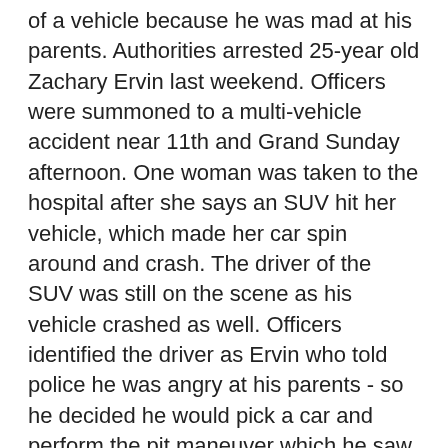of a vehicle because he was mad at his parents. Authorities arrested 25-year old Zachary Ervin last weekend. Officers were summoned to a multi-vehicle accident near 11th and Grand Sunday afternoon. One woman was taken to the hospital after she says an SUV hit her vehicle, which made her car spin around and crash. The driver of the SUV was still on the scene as his vehicle crashed as well. Officers identified the driver as Ervin who told police he was angry at his parents - so he decided he would pick a car and perform the pit maneuver which he saw on TV. Ervin was taken to jail and prosecutors have charged him with a felony count of assault with a deadly weapon. Ervin remains in the Grady County Jail on a $50,000 bond. Ervin was arrested earlier this year for using a 2 X 4 to cause massive damage at a Chickasha convenience store which was shown on video surveillance on Oklahoma TV stations. Ervin pleaded guilty to a felony charge of malicious injury to property in connection with that incident and received